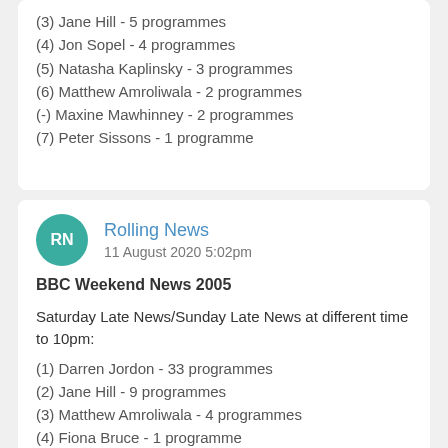(3) Jane Hill - 5 programmes
(4) Jon Sopel - 4 programmes
(5) Natasha Kaplinsky - 3 programmes
(6) Matthew Amroliwala - 2 programmes
(-) Maxine Mawhinney - 2 programmes
(7) Peter Sissons - 1 programme
Rolling News
11 August 2020 5:02pm
BBC Weekend News 2005
Saturday Late News/Sunday Late News at different time to 10pm:
(1) Darren Jordon - 33 programmes
(2) Jane Hill - 9 programmes
(3) Matthew Amroliwala - 4 programmes
(4) Fiona Bruce - 1 programme